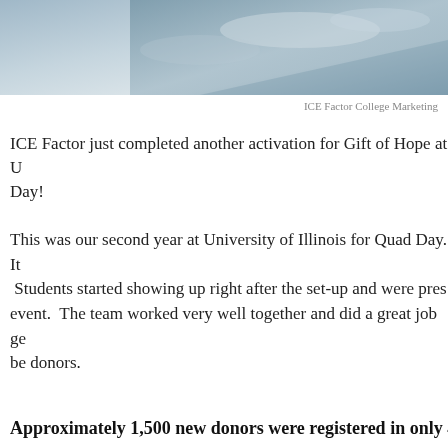[Figure (photo): Partial photo at top of page, appears to be an outdoor scene with sky and landscape]
ICE Factor College Marketing
ICE Factor just completed another activation for Gift of Hope at U Day!
This was our second year at University of Illinois for Quad Day. It  Students started showing up right after the set-up and were pres event.  The team worked very well together and did a great job ge be donors.
Approximately 1,500 new donors were registered in only 4 ho
Privacy & Cookies: This site uses cookies. By continuing to use this website, you agree to their use.
To find out more, including how to control cookies, see here: Cookie Policy